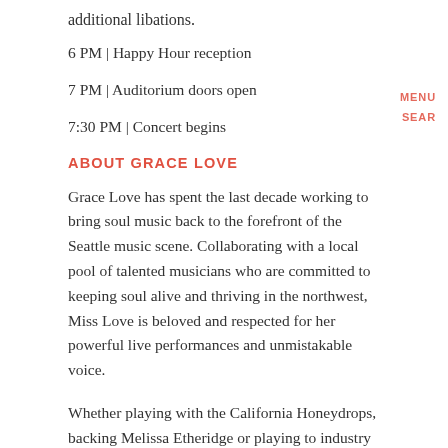additional libations.
6 PM | Happy Hour reception
7 PM | Auditorium doors open
7:30 PM | Concert begins
ABOUT GRACE LOVE
Grace Love has spent the last decade working to bring soul music back to the forefront of the Seattle music scene. Collaborating with a local pool of talented musicians who are committed to keeping soul alive and thriving in the northwest, Miss Love is beloved and respected for her powerful live performances and unmistakable voice.
Whether playing with the California Honeydrops, backing Melissa Etheridge or playing to industry giant Quincy Jones, Grace Love's voice cuts through the crowd, leaving listeners transported and inspired.
KEXP's Dusty Henry interviewed Love for the Local Artist Spotlight program and describes Love as "something of a rarity in the Northwest, a born and raised soul singer who has…"